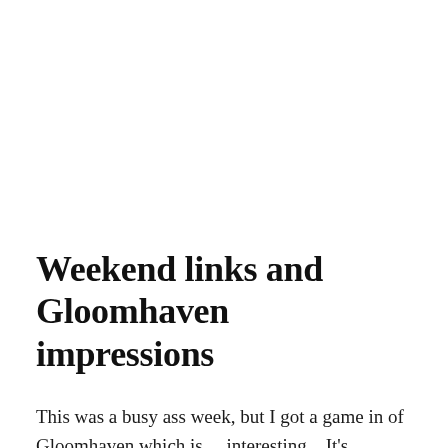Weekend links and Gloomhaven impressions
This was a busy ass week, but I got a game in of Gloomhaven which is… interesting.   It's definitely not a game I would want to own or try to get people to play (or read the rules) but it was pretty fun.  Gloomhaven is a mash up of Kingdom Death and Warhammer Fantasy Roleplay 3rd edition with all